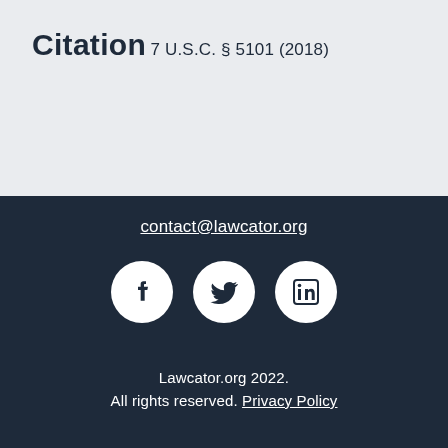Citation
7 U.S.C. § 5101 (2018)
contact@lawcator.org
[Figure (illustration): Three social media icons in white circles: Facebook, Twitter, LinkedIn on dark navy background]
Lawcator.org 2022. All rights reserved. Privacy Policy